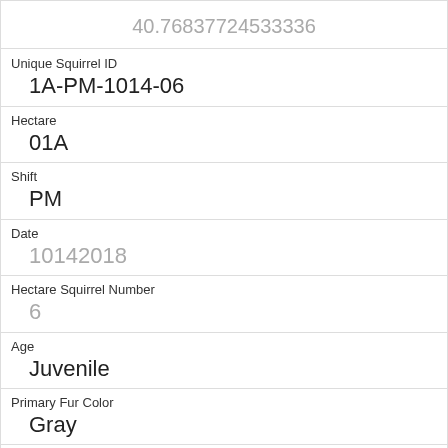| 40.76837724533336 |
| Unique Squirrel ID | 1A-PM-1014-06 |
| Hectare | 01A |
| Shift | PM |
| Date | 10142018 |
| Hectare Squirrel Number | 6 |
| Age | Juvenile |
| Primary Fur Color | Gray |
| Highlight Fur Color |  |
| Combination of Primary and Highlight Color | Gray+ |
| Color notes |  |